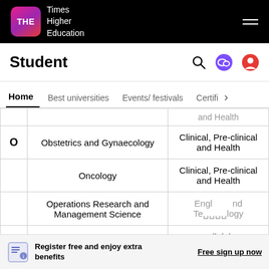Times Higher Education
Student
Home | Best universities | Events/ festivals | Certifi...
|  | Subject | Category |
| --- | --- | --- |
|  |  | and Health |
| O | Obstetrics and Gynaecology | Clinical, Pre-clinical and Health |
|  | Oncology | Clinical, Pre-clinical and Health |
|  | Operations Research and Management Science | Engineering and Technology |
|  | Ophthalmology | Clinical, Pre-clinical and Health |
Register free and enjoy extra benefits
Free sign up now